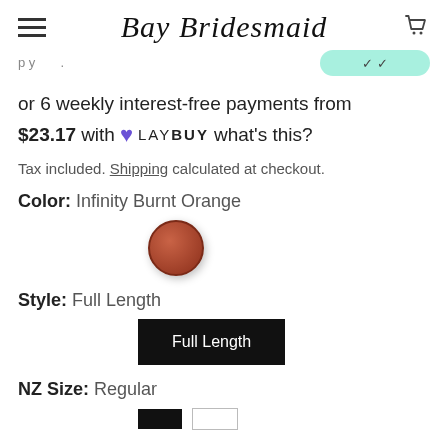Bay Bridesmaid
or 6 weekly interest-free payments from $23.17 with ♥ LAYBUY what's this?
Tax included. Shipping calculated at checkout.
Color: Infinity Burnt Orange
[Figure (illustration): Burnt orange/red filled circle representing color swatch for Infinity Burnt Orange]
Style: Full Length
Full Length (button)
NZ Size: Regular
Regular (button, black) / unnamed (button, outline)